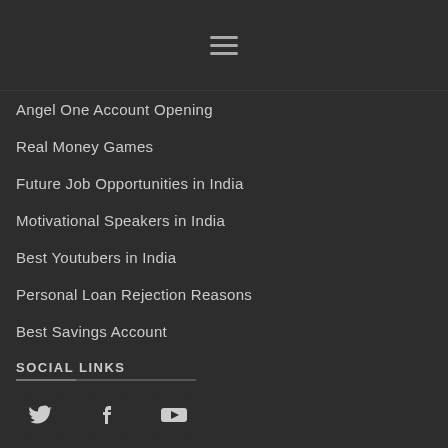Navigation menu (hamburger icon)
Angel One Account Opening
Real Money Games
Future Job Opportunities in India
Motivational Speakers in India
Best Youtubers in India
Personal Loan Rejection Reasons
Best Savings Account
SOCIAL LINKS
[Figure (illustration): Social media icons: Twitter (bird icon), Facebook (f icon), YouTube (play button icon)]